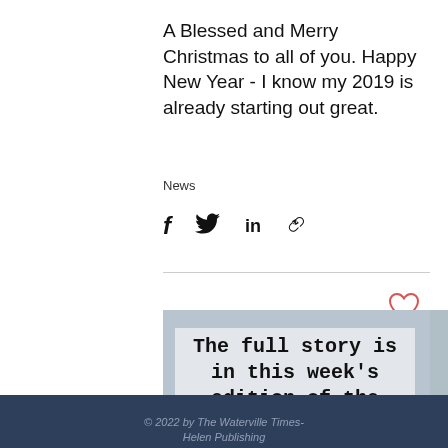A Blessed and Merry Christmas to all of you. Happy New Year - I know my 2019 is already starting out great.
News
[Figure (other): Social media share icons: Facebook (f), Twitter bird, LinkedIn (in), and a link/chain icon]
[Figure (other): Heart/like icon (outline, red/pink color)]
The full story is in this week's edition of the newspaper.
© 2022 by The Waterville Times-Helen Publishing